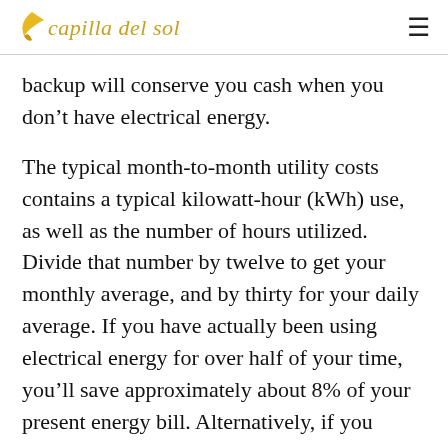capilla del sol
backup will conserve you cash when you don't have electrical energy.
The typical month-to-month utility costs contains a typical kilowatt-hour (kWh) use, as well as the number of hours utilized. Divide that number by twelve to get your monthly average, and by thirty for your daily average. If you have actually been using electrical energy for over half of your time, you'll save approximately about 8% of your present energy bill. Alternatively, if you